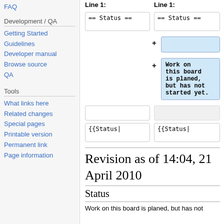FAQ
Development / QA
Getting Started
Guidelines
Developer manual
Browse source
QA
Tools
What links here
Related changes
Special pages
Printable version
Permanent link
Page information
[Figure (screenshot): Wiki diff view showing Line 1 on left with '== Status ==' and on right with '== Status ==' plus added lines: empty added line and 'Work on this board is planed, but has not started yet.' Also shows empty boxes and '{{Status|' on both sides.]
Revision as of 14:04, 21 April 2010
Status
Work on this board is planed, but has not